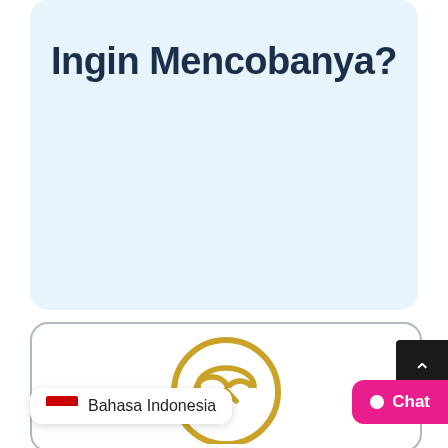Ingin Mencobanya?
[Figure (illustration): Cloud upload icon with a circular border, rendered in golden/yellow color, partially visible at the bottom of the page]
Bahasa Indonesia
Chat